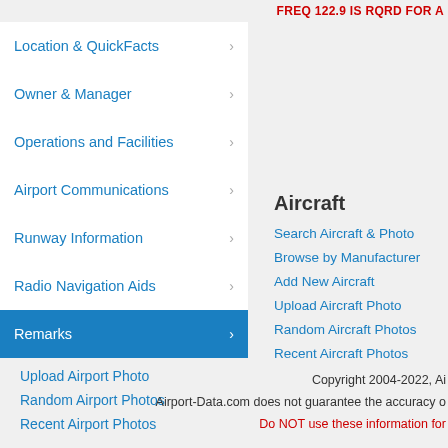FREQ 122.9 IS RQRD FOR A
Location & QuickFacts
Owner & Manager
Operations and Facilities
Airport Communications
Runway Information
Radio Navigation Aids
Remarks
Upload Airport Photo
Random Airport Photos
Recent Airport Photos
Aircraft
Search Aircraft & Photo
Browse by Manufacturer
Add New Aircraft
Upload Aircraft Photo
Random Aircraft Photos
Recent Aircraft Photos
Copyright 2004-2022, Ai
Airport-Data.com does not guarantee the accuracy o
Do NOT use these information for